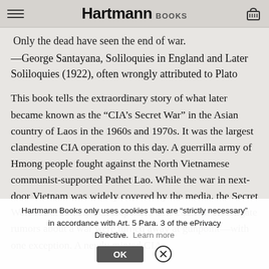Hartmann BOOKS
Only the dead have seen the end of war.
—George Santayana, Soliloquies in England and Later Soliloquies (1922), often wrongly attributed to Plato
This book tells the extraordinary story of what later became known as the “CIA’s Secret War” in the Asian country of Laos in the 1960s and 1970s. It was the largest clandestine CIA operation to this day. A guerrilla army of Hmong people fought against the North Vietnamese communist-supported Pathet Lao. While the war in next-door Vietnam was widely covered by the media, the Secret War was decidedly not. Reporters who came to investigate rumors about a war were turned away at gunpoint—with one exception. A newly minted CIA
Hartmann Books only uses cookies that are "strictly necessary" in accordance with Art. 5 Para. 3 of the ePrivacy Directive. Learn more OK